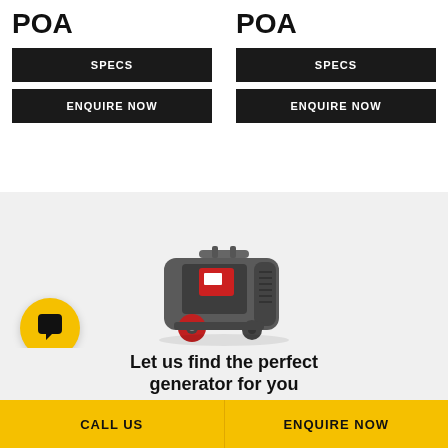POA
SPECS
ENQUIRE NOW
POA
SPECS
ENQUIRE NOW
[Figure (photo): A portable generator with grey body and red wheels, shown in 3/4 view on a light grey background.]
Let us find the perfect generator for you
CALL US
ENQUIRE NOW